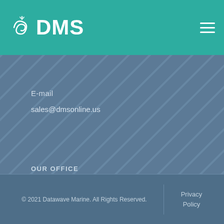DMS
E-mail
sales@dmsonline.us
OUR OFFICE
Wyoming, Michigan, USA
© 2021 Datawave Marine. All Rights Reserved.  Privacy Policy